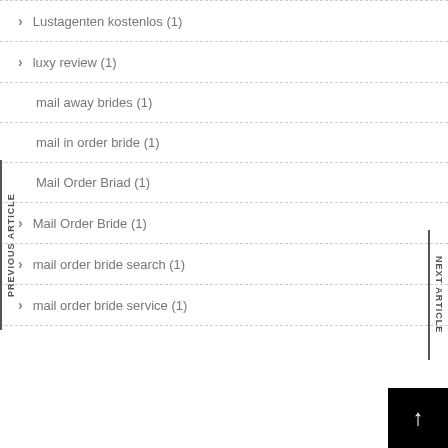Lustagenten kostenlos (1)
luxy review (1)
mail away brides (1)
mail in order bride (1)
Mail Order Briad (1)
Mail Order Bride (1)
mail order bride search (1)
mail order bride service (1)